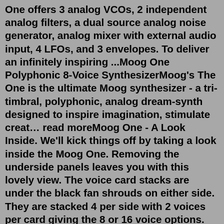One offers 3 analog VCOs, 2 independent analog filters, a dual source analog noise generator, analog mixer with external audio input, 4 LFOs, and 3 envelopes. To deliver an infinitely inspiring ...Moog One Polyphonic 8-Voice SynthesizerMoog's The One is the ultimate Moog synthesizer - a tri-timbral, polyphonic, analog dream-synth designed to inspire imagination, stimulate creat… read moreMoog One - A Look Inside. We'll kick things off by taking a look inside the Moog One. Removing the underside panels leaves you with this lovely view. The voice card stacks are under the black fan shrouds on either side. They are stacked 4 per side with 2 voices per card giving the 8 or 16 voice options. Moog opted for an external power supply ...Cecilia Moog Lead Laboratory Technician at One Health Labs Marina del Rey, California, United States 363 connectionsThe Moog One can sound warm, classic, complexity, gritty or downright chaotic as you wish. The filter options (including adjusting the spacing of the two SVF ladders) are excellent. BUT It's lacking in certain